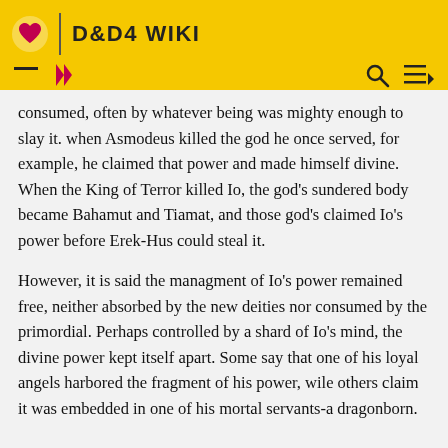D&D4 WIKI
consumed, often by whatever being was mighty enough to slay it. when Asmodeus killed the god he once served, for example, he claimed that power and made himself divine. When the King of Terror killed Io, the god's sundered body became Bahamut and Tiamat, and those god's claimed Io's power before Erek-Hus could steal it.
However, it is said the managment of Io's power remained free, neither absorbed by the new deities nor consumed by the primordial. Perhaps controlled by a shard of Io's mind, the divine power kept itself apart. Some say that one of his loyal angels harbored the fragment of his power, wile others claim it was embedded in one of his mortal servants-a dragonborn.